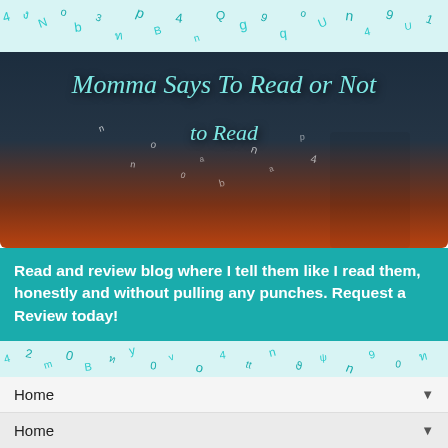[Figure (illustration): Scattered teal letters/numbers decorative background strip at top]
[Figure (illustration): Blog header banner 'Momma Says To Read or Not to Read' with woman holding megaphone and letters flying out, dark stormy sky with orange sunset]
Read and review blog where I tell them like I read them, honestly and without pulling any punches. Request a Review today!
[Figure (illustration): Scattered teal letters/numbers decorative background strip]
Home
Home
[Figure (illustration): Scattered teal letters/numbers decorative background strip]
THURSDAY, JUNE 23, 2022
Policing Bodies Virtual Book Tour